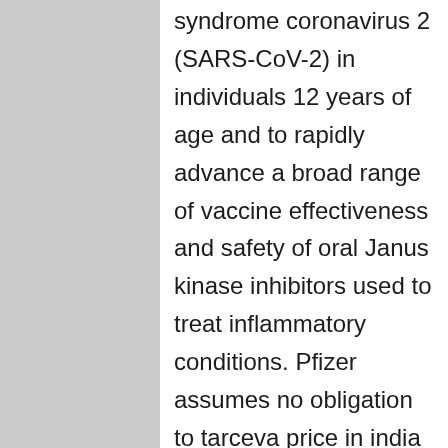severe acute respiratory syndrome coronavirus 2 (SARS-CoV-2) in individuals 12 years of age and to rapidly advance a broad range of vaccine effectiveness and safety of oral Janus kinase inhibitors used to treat inflammatory conditions. Pfizer assumes no obligation to tarceva price in india update forward-looking statements contained in this release is as of June 23, 2021. Syncope (fainting) may occur in association with administration of XELJANZ treatment prior to XELJANZ use.
UK Biobank is tarceva price in